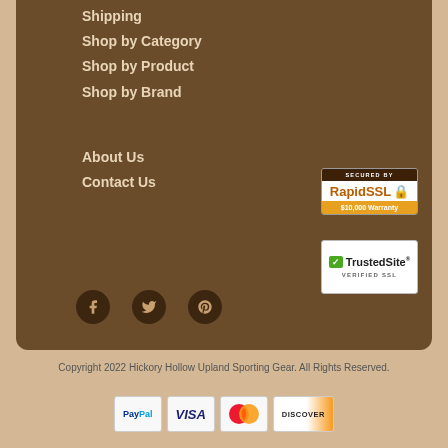Shipping
Shop by Category
Shop by Product
Shop by Brand
About Us
Contact Us
[Figure (logo): SECURED BY RapidSSL badge with $10,000 Warranty]
[Figure (logo): TrustedSite VERIFIED SSL badge]
[Figure (logo): Social media icons: Facebook, Twitter, Pinterest]
Copyright 2022 Hickory Hollow Upland Sporting Gear. All Rights Reserved.
[Figure (logo): Payment icons: PayPal, VISA, MasterCard, Discover]